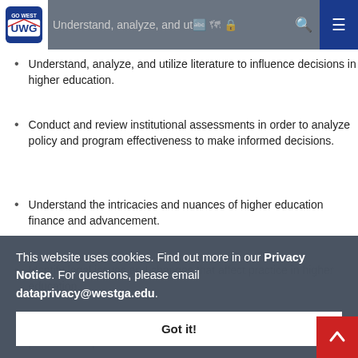UWG navigation bar with logo and icons
Understand, analyze, and utilize literature to influence decisions in higher education.
Conduct and review institutional assessments in order to analyze policy and program effectiveness to make informed decisions.
Understand the intricacies and nuances of higher education finance and advancement.
Identify legal issues and changes that affect practice in higher education.
Identify personal values and ethics as it influences their professional practice.
Letter of intent including professional goals and reasons for applying.
Three letters of support from:
This website uses cookies. Find out more in our Privacy Notice. For questions, please email dataprivacy@westga.edu.